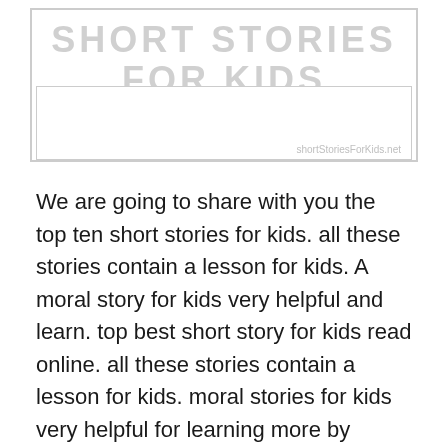[Figure (illustration): A banner/header graphic with light gray outlined text reading 'SHORT STORIES FOR KIDS' and a rectangular image area below with a faint label at bottom right.]
We are going to share with you the top ten short stories for kids. all these stories contain a lesson for kids. A moral story for kids very helpful and learn. top best short story for kids read online. all these stories contain a lesson for kids. moral stories for kids very helpful for learning more by reading short stories.